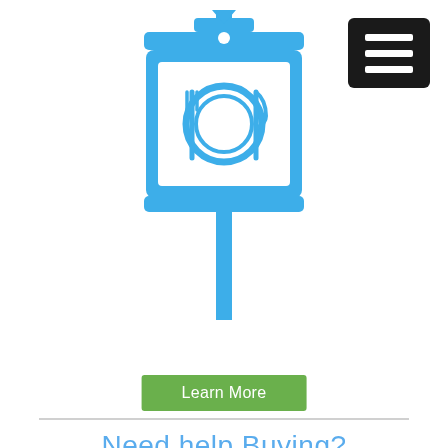[Figure (illustration): Blue restaurant/dining sign icon on a post with a plate, fork, and knife symbol inside a square sign]
[Figure (illustration): Black square hamburger menu button with three white horizontal lines]
Learn More
Need help Buying?
[Figure (illustration): Blue restaurant/chef sign icon on a post with a chef hat and spoon symbol inside a square sign]
View Our L
[Figure (illustration): Blue circle with upward chevron arrow for scroll to top]
[Figure (illustration): Green circle with chat/message bubble icon]